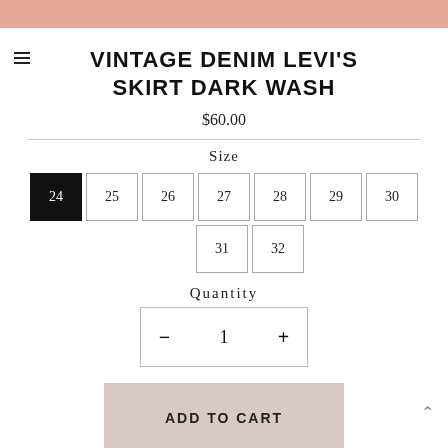[Figure (photo): Top portion of a product photo showing a pink/salmon background, partially cropped]
VINTAGE DENIM LEVI'S SKIRT DARK WASH
$60.00
Size
24 25 26 27 28 29 30 31 32 (size selector buttons, 24 selected)
Quantity
1 (quantity selector with minus and plus buttons)
ADD TO CART